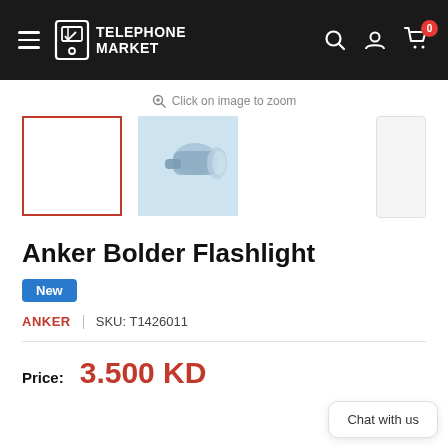TELEPHONE MARKET
Click on image to zoom
[Figure (photo): Product thumbnail images for Anker Bolder Flashlight: first thumbnail selected (red border, empty/white), second thumbnail showing flashlight product image on light blue background]
Anker Bolder Flashlight
New
ANKER | SKU: T1426011
Price: 3.500 KD